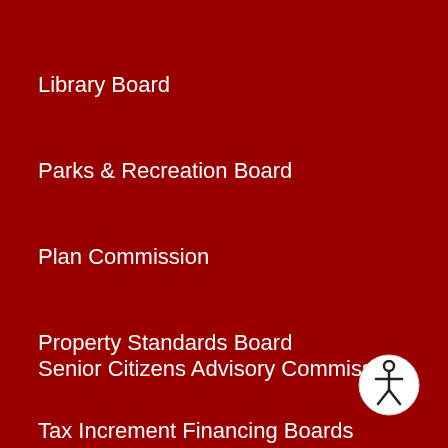Library Board
Parks & Recreation Board
Plan Commission
Property Standards Board
Senior Citizens Advisory Commission
Tax Increment Financing Boards
[Figure (illustration): Accessibility icon: circular badge with white background showing a stylized person figure in dark outline]